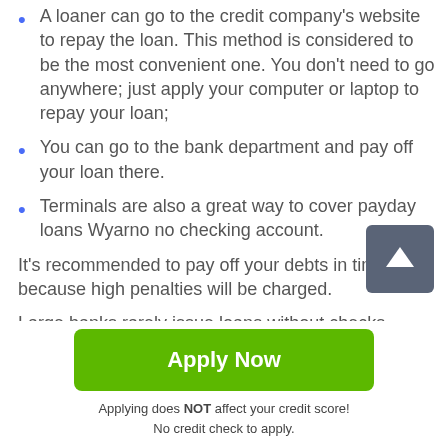A loaner can go to the credit company's website to repay the loan. This method is considered to be the most convenient one. You don't need to go anywhere; just apply your computer or laptop to repay your loan;
You can go to the bank department and pay off your loan there.
Terminals are also a great way to cover payday loans Wyarno no checking account.
It's recommended to pay off your debts in time because high penalties will be charged.
Large banks rarely issue loans without checks. Microfinance organizations are less demanding on
[Figure (other): Dark grey square button with white upward arrow icon (scroll to top button)]
Apply Now
Applying does NOT affect your credit score!
No credit check to apply.